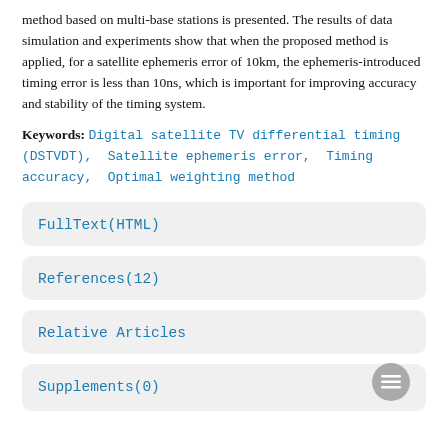method based on multi-base stations is presented. The results of data simulation and experiments show that when the proposed method is applied, for a satellite ephemeris error of 10km, the ephemeris-introduced timing error is less than 10ns, which is important for improving accuracy and stability of the timing system.
Keywords: Digital satellite TV differential timing (DSTVDT), Satellite ephemeris error, Timing accuracy, Optimal weighting method
FullText(HTML)
References(12)
Relative Articles
Supplements(0)